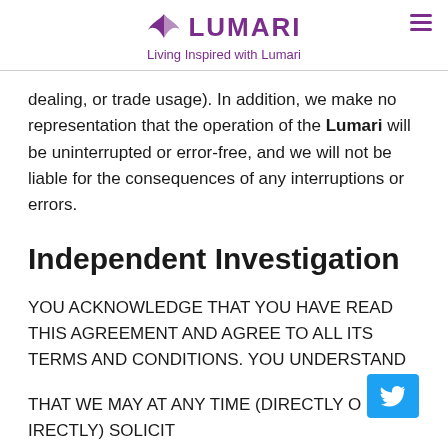Lumari — Living Inspired with Lumari
dealing, or trade usage). In addition, we make no representation that the operation of the Lumari will be uninterrupted or error-free, and we will not be liable for the consequences of any interruptions or errors.
Independent Investigation
YOU ACKNOWLEDGE THAT YOU HAVE READ THIS AGREEMENT AND AGREE TO ALL ITS TERMS AND CONDITIONS. YOU UNDERSTAND THAT WE MAY AT ANY TIME (DIRECTLY OR INDIRECTLY) SOLICIT CUSTOMER REFERRALS ON TERMS THAT MAY